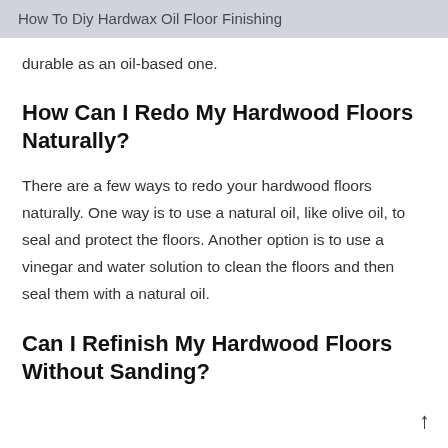How To Diy Hardwax Oil Floor Finishing
durable as an oil-based one.
How Can I Redo My Hardwood Floors Naturally?
There are a few ways to redo your hardwood floors naturally. One way is to use a natural oil, like olive oil, to seal and protect the floors. Another option is to use a vinegar and water solution to clean the floors and then seal them with a natural oil.
Can I Refinish My Hardwood Floors Without Sanding?